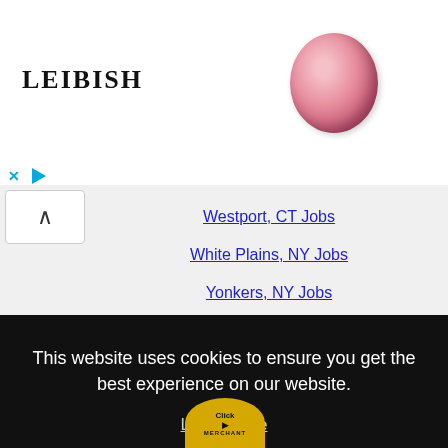[Figure (illustration): Leibish jewelry advertisement banner with logo, pink oval gemstone, heart necklace, and green earring]
Westport, CT Jobs
White Plains, NY Jobs
Yonkers, NY Jobs
This website uses cookies to ensure you get the best experience on our website.
Learn more
Got it!